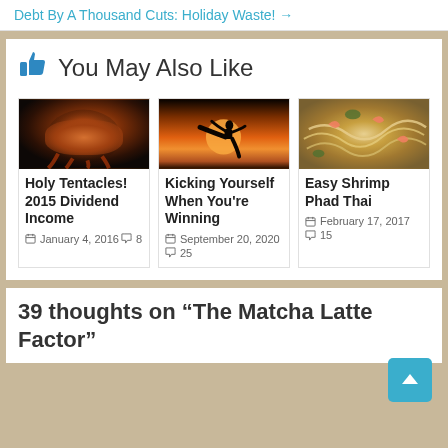Debt By A Thousand Cuts: Holiday Waste! →
You May Also Like
[Figure (photo): Close-up photo of an octopus with visible tentacles and suckers against a dark background]
Holy Tentacles! 2015 Dividend Income
January 4, 2016  8
[Figure (photo): Silhouette of a martial artist doing a flying kick against a dramatic orange sunset sky]
Kicking Yourself When You're Winning
September 20, 2020  25
[Figure (photo): Close-up of shrimp pad thai noodle dish with shrimp, peanuts and vegetables]
Easy Shrimp Phad Thai
February 17, 2017  15
39 thoughts on “The Matcha Latte Factor”